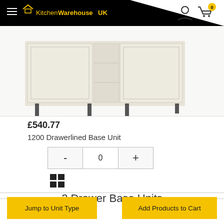[Figure (logo): KitchenWarehouseUK logo with house icon on black header bar]
[Figure (photo): 1200 Drawerlined Base Unit kitchen cabinet product photo showing a cream/off-white base unit with drawers and legs]
£540.77
1200 Drawerlined Base Unit
[Figure (other): Quantity selector control with minus button, 0, and plus button]
[Figure (other): List/grid view toggle icon]
2 Drawer Base Units
Jump to Unit Type
Add Products to Cart